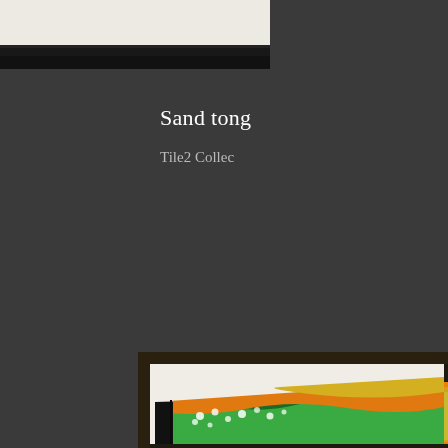[Figure (photo): Top portion of a framed artwork on a dark gray wall — white/cream matting visible with a black frame border at the bottom edge. Only the upper frame corner and mat are visible, cropped.]
Sand tong
Tile2 Collec
[Figure (photo): Bottom framed artwork on a dark gray wall. The frame has a dark wood finish with a gold inner accent strip. Inside is cream/off-white matting, and within the mat is a colorful abstract painting featuring vivid swirling greens, oranges, yellows, and whites with white dot accents — visible only in the lower-left corner of the composition.]